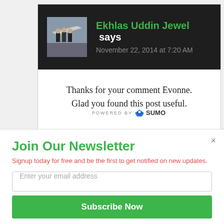[Figure (photo): Avatar photo of Ekhlas Uddin Jewel showing people near an airplane]
Ekhlas Uddin Jewel says
November 22, 2014 at 7:20 AM
Thanks for your comment Evonne. Glad you found this post useful.
[Figure (logo): POWERED BY SUMO logo badge]
Join Our Newsletter
Signup today for free and be the first to get notified on new updates.
Enter your email address
Subscribe Now